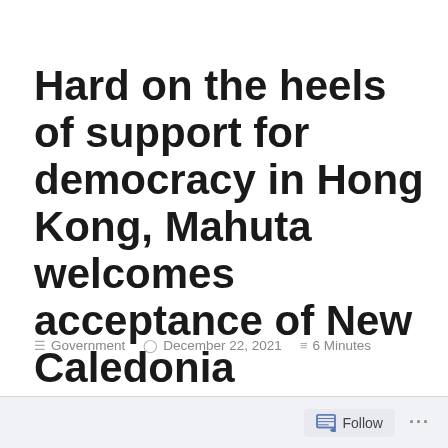Hard on the heels of support for democracy in Hong Kong, Mahuta welcomes acceptance of New Caledonia governance vote
Government   December 22, 2021   6 Minutes
Just as we were encouraged yesterday by Nanaia